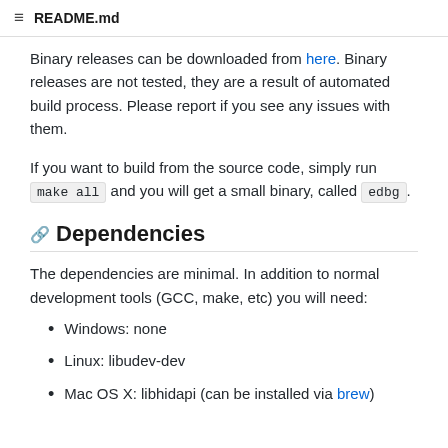README.md
Binary releases can be downloaded from here. Binary releases are not tested, they are a result of automated build process. Please report if you see any issues with them.
If you want to build from the source code, simply run make all and you will get a small binary, called edbg.
Dependencies
The dependencies are minimal. In addition to normal development tools (GCC, make, etc) you will need:
Windows: none
Linux: libudev-dev
Mac OS X: libhidapi (can be installed via brew)